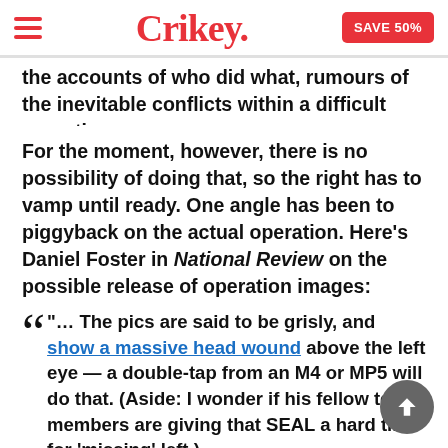Crikey. | SAVE 50%
the accounts of who did what, rumours of the inevitable conflicts within a difficult operation.
For the moment, however, there is no possibility of doing that, so the right has to vamp until ready. One angle has been to piggyback on the actual operation. Here’s Daniel Foster in National Review on the possible release of operation images:
“… The pics are said to be grisly, and show a massive head wound above the left eye — a double-tap from an M4 or MP5 will do that. (Aside: I wonder if his fellow team members are giving that SEAL a hard time for ‘missing’ left.)